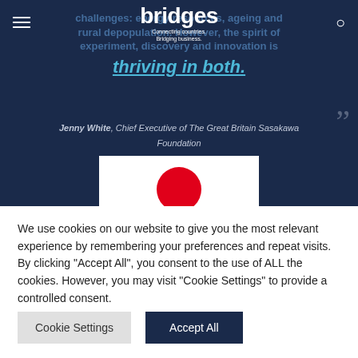bridges — Connecting countries. Bridging business.
challenges: energy resources, ageing and rural depopulation. However, the spirit of experiment, discovery and innovation is thriving in both.
Jenny White, Chief Executive of The Great Britain Sasakawa Foundation
[Figure (illustration): Japanese flag style image — white background with red circle and black brushstroke]
We use cookies on our website to give you the most relevant experience by remembering your preferences and repeat visits. By clicking "Accept All", you consent to the use of ALL the cookies. However, you may visit "Cookie Settings" to provide a controlled consent.
Cookie Settings
Accept All